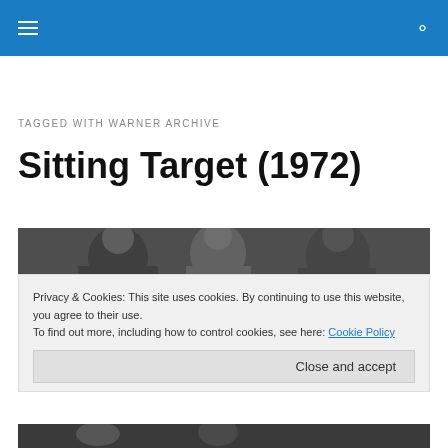Navigation bar with hamburger menu and search icon
TAGGED WITH WARNER ARCHIVE
Sitting Target (1972)
[Figure (photo): Black and white film still showing people, top portion]
Privacy & Cookies: This site uses cookies. By continuing to use this website, you agree to their use. To find out more, including how to control cookies, see here: Cookie Policy
Close and accept
[Figure (photo): Black and white film still, bottom portion]